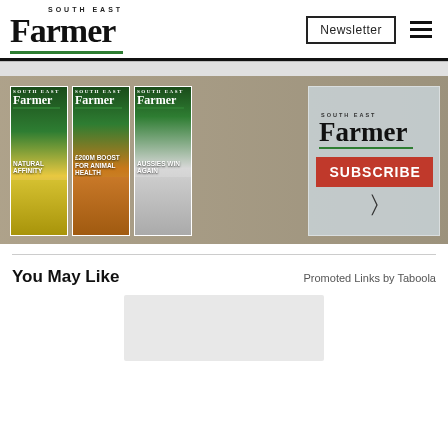South East Farmer | Newsletter
[Figure (illustration): South East Farmer magazine subscription banner showing three magazine covers (Natural Affinity, £200M Boost For Animal Health, Aussies Win Again) and a South East Farmer logo with a red SUBSCRIBE button and cursor icon]
You May Like
Promoted Links by Taboola
[Figure (photo): Placeholder content card area (gray rectangle)]